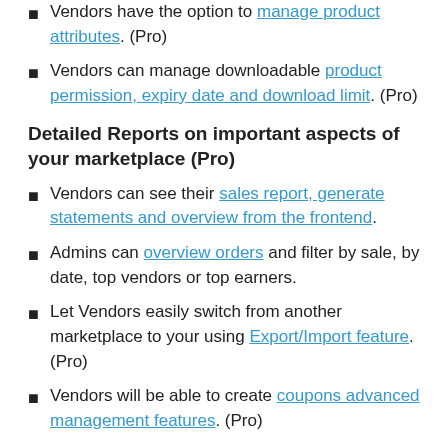Vendors have the option to manage product attributes. (Pro)
Vendors can manage downloadable product permission, expiry date and download limit. (Pro)
Detailed Reports on important aspects of your marketplace (Pro)
Vendors can see their sales report, generate statements and overview from the frontend.
Admins can overview orders and filter by sale, by date, top vendors or top earners.
Let Vendors easily switch from another marketplace to your using Export/Import feature. (Pro)
Vendors will be able to create coupons advanced management features. (Pro)
The vendors have the capability to manage and